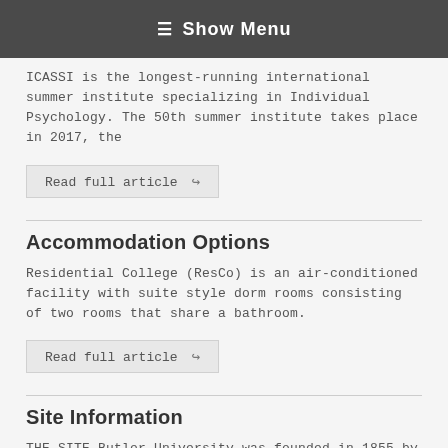☰ Show Menu
ICASSI is the longest-running international summer institute specializing in Individual Psychology. The 50th summer institute takes place in 2017, the
Read full article ↪
Accommodation Options
Residential College (ResCo) is an air-conditioned facility with suite style dorm rooms consisting of two rooms that share a bathroom.
Read full article ↪
Site Information
THE SITE Butler University was founded in 1855 by attorney and